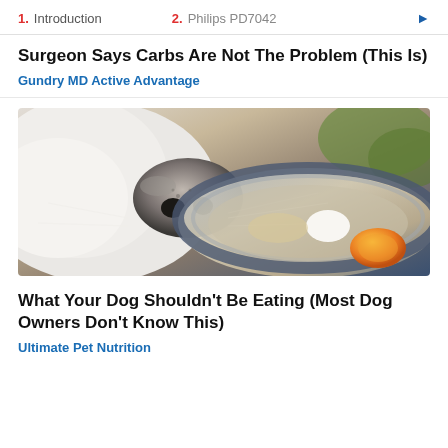1. Introduction   2. Philips PD7042
Surgeon Says Carbs Are Not The Problem (This Is)
Gundry MD Active Advantage
[Figure (photo): Close-up photo of a white dog's nose sniffing a metal bowl, with an orange fruit visible and green grass in background]
What Your Dog Shouldn't Be Eating (Most Dog Owners Don't Know This)
Ultimate Pet Nutrition